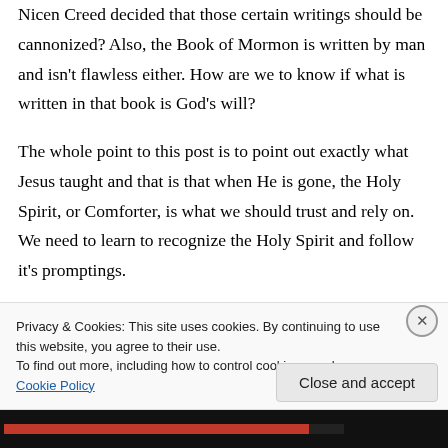Nicen Creed decided that those certain writings should be cannonized? Also, the Book of Mormon is written by man and isn't flawless either. How are we to know if what is written in that book is God's will?
The whole point to this post is to point out exactly what Jesus taught and that is that when He is gone, the Holy Spirit, or Comforter, is what we should trust and rely on. We need to learn to recognize the Holy Spirit and follow it's promptings.
Privacy & Cookies: This site uses cookies. By continuing to use this website, you agree to their use.
To find out more, including how to control cookies, see here: Cookie Policy
Close and accept